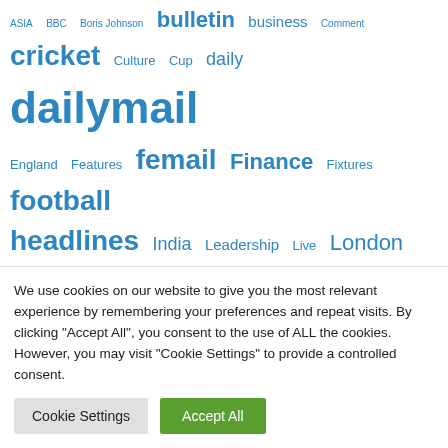ASIA BBC Boris Johnson bulletin business Comment cricket Culture Cup daily dailymail England Features femail Finance Fixtures football headlines India Leadership Live London Los Angeles Love Island Manchester United Netflix News package Politics Premier League Results Rugby Sky Sport Sports Standard Stocks tennis text tvshowbiz Twitter UK News
We use cookies on our website to give you the most relevant experience by remembering your preferences and repeat visits. By clicking "Accept All", you consent to the use of ALL the cookies. However, you may visit "Cookie Settings" to provide a controlled consent.